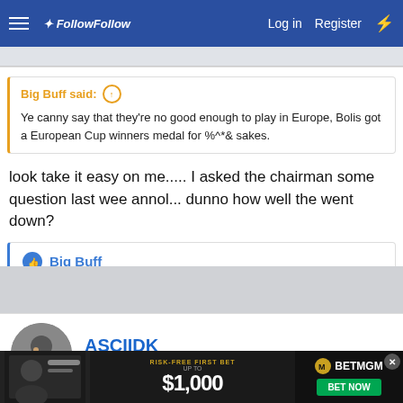FollowFollow | Log in | Register
Big Buff said: ↑ Ye canny say that they're no good enough to play in Europe, Bolis got a European Cup winners medal for %^*& sakes.
look take it easy on me..... I asked the chairman some question last wee annol... dunno how well the went down?
👍 Big Buff
ASCIIDK
Well-Known Member
[Figure (screenshot): BetMGM advertisement banner: Risk-Free First Bet up to $1,000 with Bet Now button]